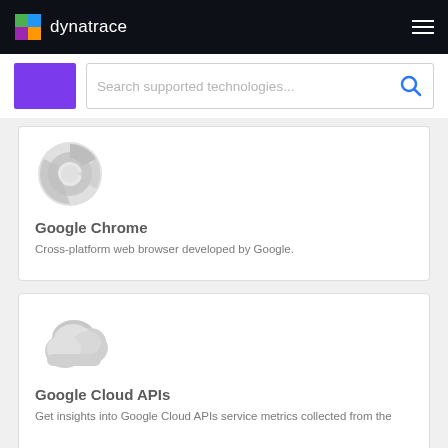dynatrace
Search supported technologies...
[Figure (illustration): Google Chrome browser icon - grey circular chrome logo]
Google Chrome
Cross-platform web browser developed by Google.
[Figure (illustration): Google Cloud APIs icon - grey cloud icon]
Google Cloud APIs
Get insights into Google Cloud APIs service metrics collected from the